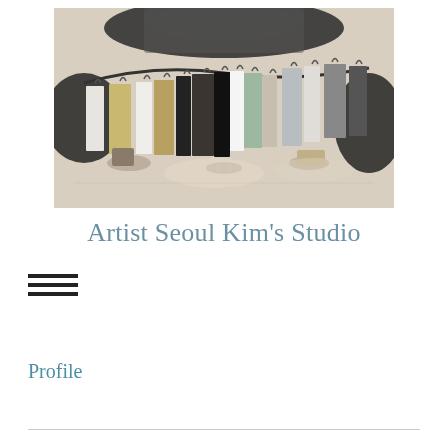[Figure (illustration): Artwork painting showing clothing items hanging on a curved rack/rail. The garments include coats, dresses, jackets in various colors including black, white, yellow, and gray. The background has dark atmospheric cloudy shapes. Painted in a mixed-media style with ink and watercolor. Bags and accessories are visible on the floor beneath the hanging clothes.]
Artist Seoul Kim's Studio
[Figure (other): Hamburger menu icon consisting of three horizontal black lines]
Profile